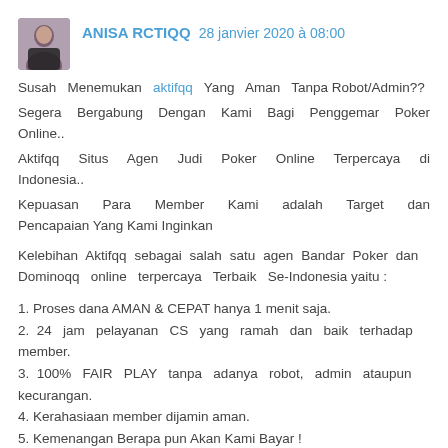ANISA RCTIQQ 28 janvier 2020 à 08:00
Susah Menemukan aktifqq Yang Aman Tanpa Robot/Admin??
Segera Bergabung Dengan Kami Bagi Penggemar Poker Online..
Aktifqq Situs Agen Judi Poker Online Terpercaya di Indonesia..
Kepuasan Para Member Kami adalah Target dan Pencapaian Yang Kami Inginkan

Kelebihan Aktifqq sebagai salah satu agen Bandar Poker dan Dominoqq online terpercaya Terbaik Se-Indonesia yaitu :
1. Proses dana AMAN & CEPAT hanya 1 menit saja.
2. 24 jam pelayanan CS yang ramah dan baik terhadap member.
3. 100% FAIR PLAY tanpa adanya robot, admin ataupun kecurangan.
4. Kerahasiaan member dijamin aman.
5. Kemenangan Berapa pun Akan Kami Bayar !